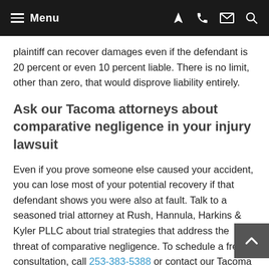Menu
plaintiff can recover damages even if the defendant is 20 percent or even 10 percent liable. There is no limit, other than zero, that would disprove liability entirely.
Ask our Tacoma attorneys about comparative negligence in your injury lawsuit
Even if you prove someone else caused your accident, you can lose most of your potential recovery if that defendant shows you were also at fault. Talk to a seasoned trial attorney at Rush, Hannula, Harkins & Kyler PLLC about trial strategies that address the threat of comparative negligence. To schedule a free consultation, call 253-383-5388 or contact our Tacoma office online.